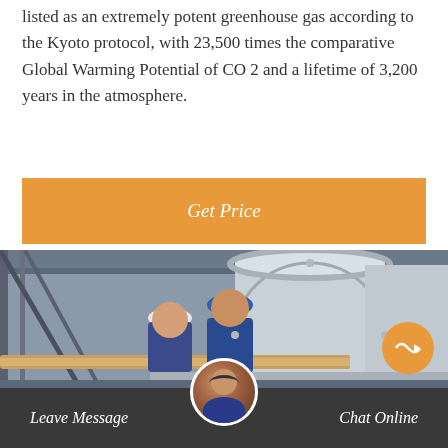listed as an extremely potent greenhouse gas according to the Kyoto protocol, with 23,500 times the comparative Global Warming Potential of CO 2 and a lifetime of 3,200 years in the atmosphere.
Get Price
[Figure (photo): Two workers in hard hats and blue coveralls inspecting large industrial cylindrical pressure vessels or tanks in a factory/plant setting. The environment shows heavy industrial equipment with metal structures and piping.]
Leave Message
Chat Online